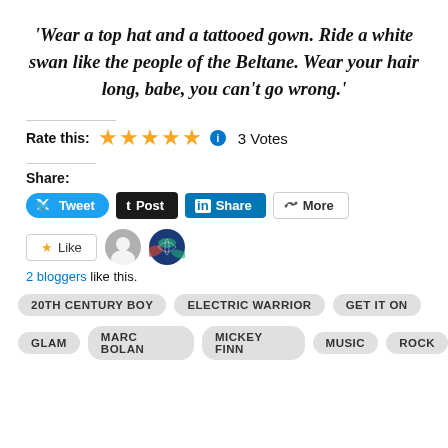'Wear a top hat and a tattooed gown. Ride a white swan like the people of the Beltane. Wear your hair long, babe, you can't go wrong.'
Rate this: ★★★★★ ℹ 3 Votes
Share:
[Figure (screenshot): Social share buttons: Tweet, Post, Share (LinkedIn), More]
[Figure (screenshot): Like button with two blogger avatars]
2 bloggers like this.
20TH CENTURY BOY   ELECTRIC WARRIOR   GET IT ON   GLAM   MARC BOLAN   MICKEY FINN   MUSIC   ROCK